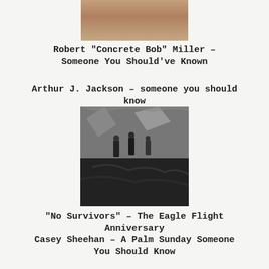[Figure (photo): Partial photo of a person at the top of the page, cropped]
Robert "Concrete Bob" Miller – Someone You Should've Known
Arthur J. Jackson – someone you should know
[Figure (photo): Black and white photograph of soldiers in a rocky, mountainous terrain]
"No Survivors" – The Eagle Flight Anniversary
Casey Sheehan – A Palm Sunday Someone You Should Know